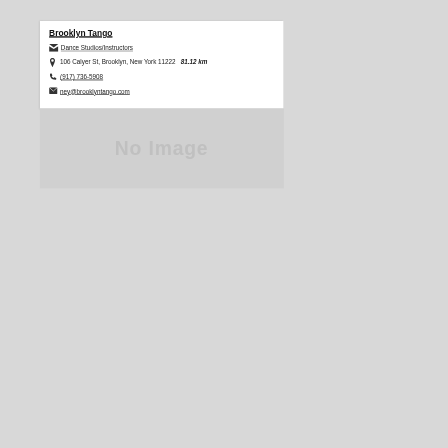Brooklyn Tango
Dance Studios/Instructors
106 Calyer St, Brooklyn, New York 11222  81.12 km
(917) 736-5908
ney@brooklyntango.com
[Figure (other): Gray placeholder box with 'No Image' text]